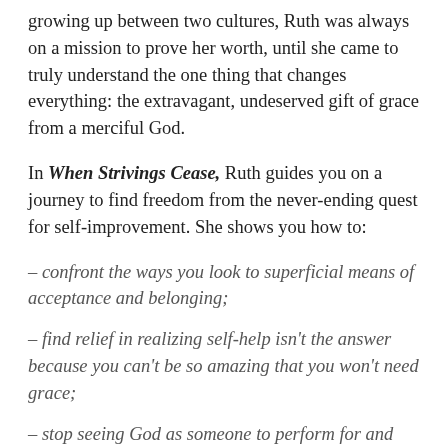growing up between two cultures, Ruth was always on a mission to prove her worth, until she came to truly understand the one thing that changes everything: the extravagant, undeserved gift of grace from a merciful God.
In When Strivings Cease, Ruth guides you on a journey to find freedom from the never-ending quest for self-improvement. She shows you how to:
– confront the ways you look to superficial means of acceptance and belonging;
– find relief in realizing self-help isn't the answer because you can't be so amazing that you won't need grace;
– stop seeing God as someone to perform for and start finding delight in responding to his welcome; and